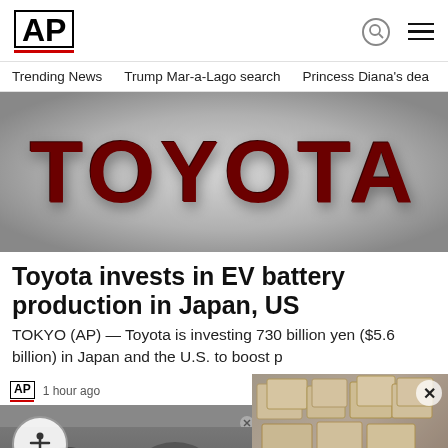AP
Trending News   Trump Mar-a-Lago search   Princess Diana's dea
[Figure (photo): Toyota logo sign in dark red/maroon lettering on a silver/grey background]
Toyota invests in EV battery production in Japan, US
TOKYO (AP) — Toyota is investing 730 billion yen ($5.6 billion) in Japan and the U.S. to boost p
1 hour ago
[Figure (photo): Overlay panel showing boxes/documents at Trump estate with close button]
Feds cite efforts to obstruct probe of docs at Trump est...